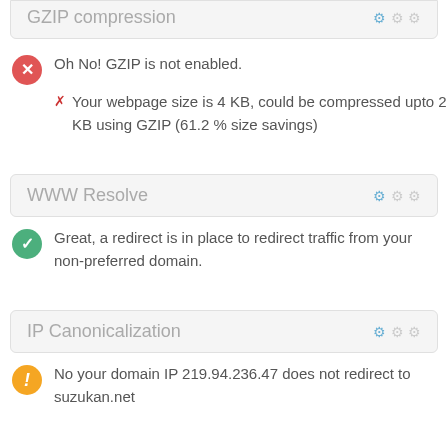GZIP compression
Oh No! GZIP is not enabled.
Your webpage size is 4 KB, could be compressed upto 2 KB using GZIP (61.2 % size savings)
WWW Resolve
Great, a redirect is in place to redirect traffic from your non-preferred domain.
IP Canonicalization
No your domain IP 219.94.236.47 does not redirect to suzukan.net